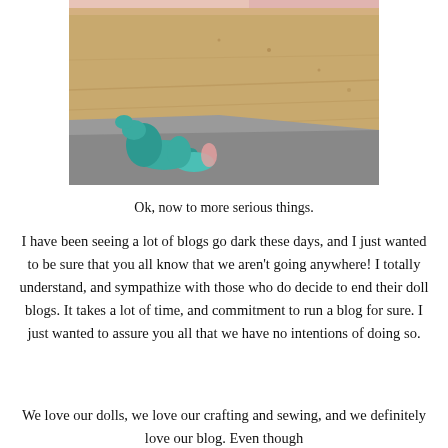[Figure (photo): Partial photo showing what appears to be toy dinosaur figures (teal/green colored) on a concrete floor with a wooden surface/board visible in the background. Only the bottom portion of the image is visible.]
Ok, now to more serious things.
I have been seeing a lot of blogs go dark these days, and I just wanted to be sure that you all know that we aren't going anywhere! I totally understand, and sympathize with those who do decide to end their doll blogs. It takes a lot of time, and commitment to run a blog for sure. I just wanted to assure you all that we have no intentions of doing so.
We love our dolls, we love our crafting and sewing, and we definitely love our blog. Even though